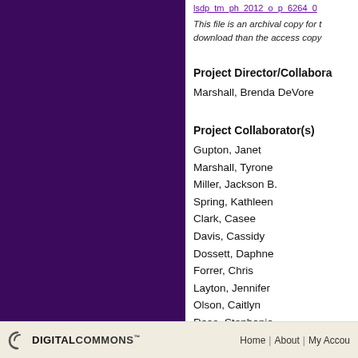lsdp_tm_ph_2012_o_p_6264_0...
This file is an archival copy for the download than the access copy
Project Director/Collaborator
Marshall, Brenda DeVore
Project Collaborator(s)
Gupton, Janet
Marshall, Tyrone
Miller, Jackson B.
Spring, Kathleen
Clark, Casee
Davis, Cassidy
Dossett, Daphne
Forrer, Chris
Layton, Jennifer
Olson, Caitlyn
Raso, Stephanie
Snyder, Andrea
Weber, Whitney
We use cookies to help provide and enhance our service and tailor content. By closing this message, you agree to the use of cookies.
DIGITAL COMMONS™   Home  |  About  |  My Account